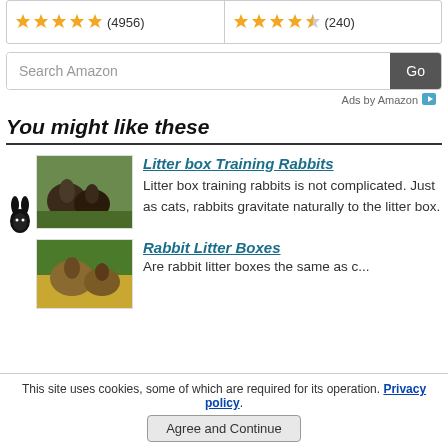[Figure (other): Two product ratings: 5-star (4956 reviews) and 4.5-star (240 reviews)]
[Figure (screenshot): Amazon search bar with Go button]
Ads by Amazon
You might like these
[Figure (photo): Photo of rabbits in grass]
Litter box Training Rabbits
Litter box training rabbits is not complicated. Just as cats, rabbits gravitate naturally to the litter box.
[Figure (photo): Photo of rabbit in hay]
Rabbit Litter Boxes
Are rabbit litter boxes the same as c...
This site uses cookies, some of which are required for its operation. Privacy policy
Agree and Continue